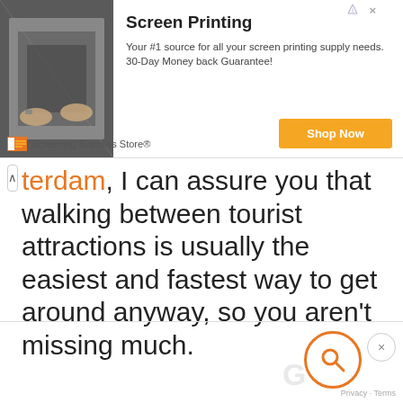[Figure (screenshot): Advertisement banner for Screening Supplies Store showing screen printing equipment, with title 'Screen Printing', description text, and a yellow 'Shop Now' button]
terdam, I can assure you that walking between tourist attractions is usually the easiest and fastest way to get around anyway, so you aren't missing much.